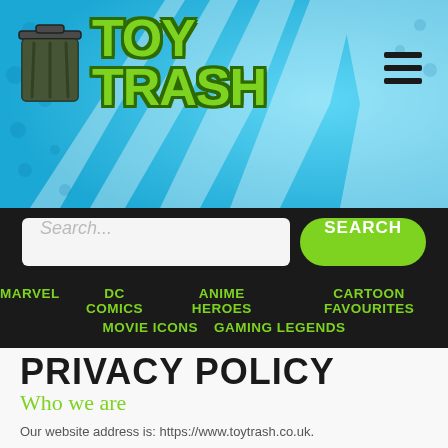[Figure (logo): Toy Trash website logo with green trash can icon and bold green 'TOY TRASH' text on blue sunburst background]
[Figure (other): Hamburger menu icon (three horizontal dark bars) in upper right of header]
[Figure (screenshot): Navigation bar with search input field and green SEARCH button]
MARVEL   DC COMICS   ANIME HEROES   CARTOON FAVOURITES   MOVIE ICONS   GAMING LEGENDS
PRIVACY POLICY
Who we are
Our website address is: https://www.toytrash.co.uk.